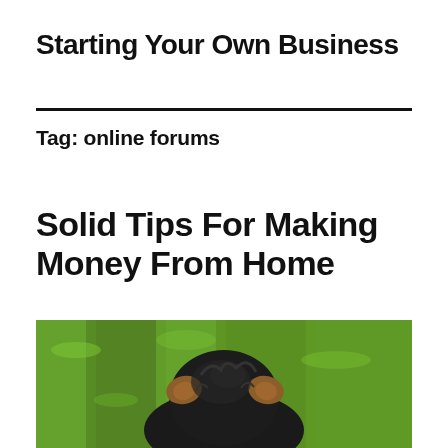Starting Your Own Business
Tag: online forums
Solid Tips For Making Money From Home
[Figure (photo): Close-up photo of a small black dog with tan ears, viewed from above/behind, on a green grass background]